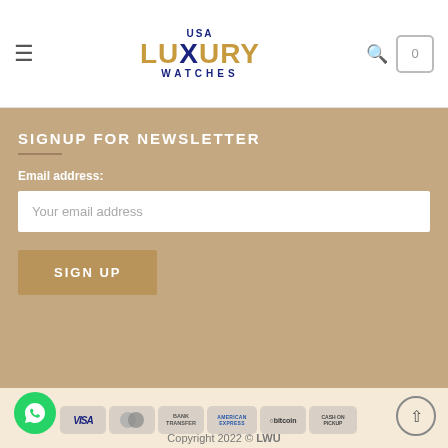[Figure (logo): USA Luxury Watches logo with golden LUXURY text and blue X letter]
SIGNUP FOR NEWSLETTER
Email address:
Your email address
SIGN UP
[Figure (other): Payment method icons: VISA, MasterCard, Bank Transfer, American Express, Bitcoin, Cash on Pickup]
Copyright 2022 © LWU